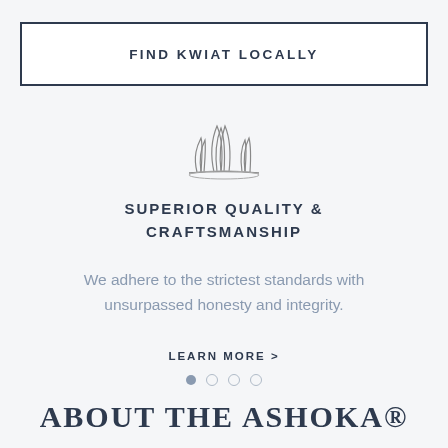FIND KWIAT LOCALLY
[Figure (illustration): Crown or tiara decorative icon in outline style, drawn with fine curved lines suggesting a stylized diamond crown.]
SUPERIOR QUALITY & CRAFTSMANSHIP
We adhere to the strictest standards with unsurpassed honesty and integrity.
LEARN MORE >
[Figure (infographic): Pagination dots: one filled circle followed by three empty circles, indicating slide 1 of 4.]
ABOUT THE ASHOKA®